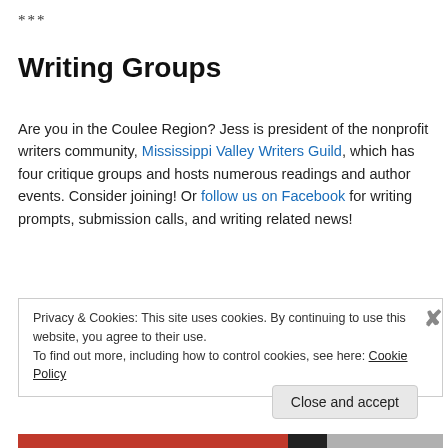***
Writing Groups
Are you in the Coulee Region? Jess is president of the nonprofit writers community, Mississippi Valley Writers Guild, which has four critique groups and hosts numerous readings and author events. Consider joining! Or follow us on Facebook for writing prompts, submission calls, and writing related news!
Privacy & Cookies: This site uses cookies. By continuing to use this website, you agree to their use.
To find out more, including how to control cookies, see here: Cookie Policy
Close and accept